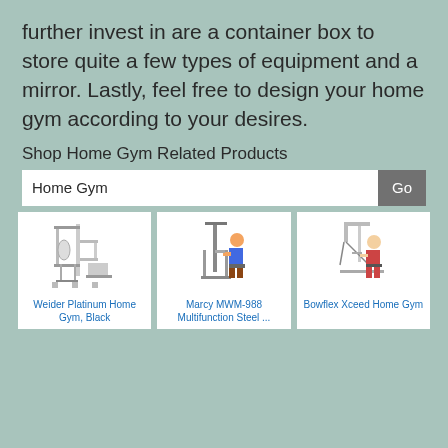further invest in are a container box to store quite a few types of equipment and a mirror. Lastly, feel free to design your home gym according to your desires.
Shop Home Gym Related Products
Home Gym
[Figure (other): Product card: Weider Platinum Home Gym, Black - exercise machine image]
[Figure (other): Product card: Marcy MWM-988 Multifunction Steel ... - exercise machine with person using it]
[Figure (other): Product card: Bowflex Xceed Home Gym - exercise machine with person using it]